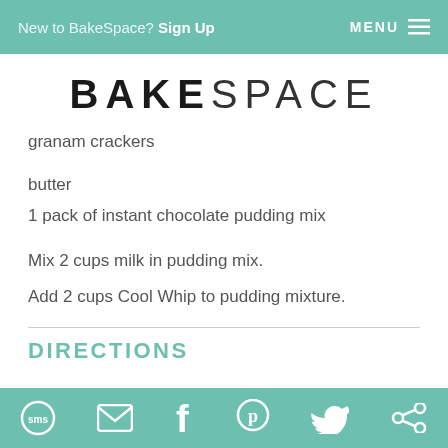New to BakeSpace? Sign Up   MENU
BAKESPACE
granam crackers
butter
1 pack of instant chocolate pudding mix
Mix 2 cups milk in pudding mix.
Add 2 cups Cool Whip to pudding mixture.
DIRECTIONS
SMS  email  facebook  pinterest  twitter  share